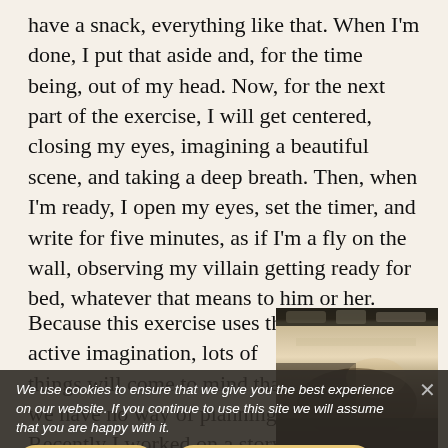have a snack, everything like that. When I'm done, I put that aside and, for the time being, out of my head. Now, for the next part of the exercise, I will get centered, closing my eyes, imagining a beautiful scene, and taking a deep breath. Then, when I'm ready, I open my eyes, set the timer, and write for five minutes, as if I'm a fly on the wall, observing my villain getting ready for bed, whatever that means to him or her.
Because this exercise uses the active imagination, lots of things will come to mind that we have no way of planning. Recently I worked on a story with a student who [could] not get a hold of her villain. When she did this exercise, however, she realized that one of the guilty pleasures that her villain had was to
[Figure (photo): Blurry warm-toned photo of a person near a bed or desk, dark and sepia toned]
We use cookies to ensure that we give you the best experience on our website. If you continue to use this site we will assume that you are happy with it.